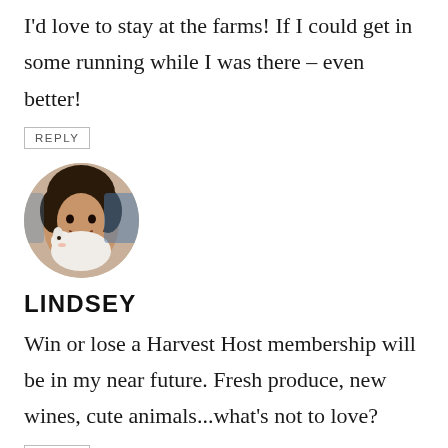I'd love to stay at the farms! If I could get in some running while I was there – even better!
REPLY
[Figure (photo): Circular avatar photo of a woman with dark curly hair smiling and holding a white dog]
LINDSEY
Win or lose a Harvest Host membership will be in my near future. Fresh produce, new wines, cute animals...what's not to love?
REPLY
[Figure (photo): Partial circular avatar photo at bottom of page]